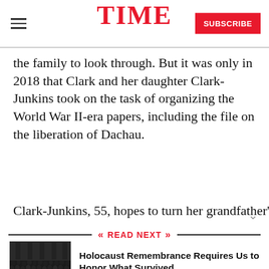TIME | SUBSCRIBE
the family to look through. But it was only in 2018 that Clark and her daughter Clark-Junkins took on the task of organizing the World War II-era papers, including the file on the liberation of Dachau.
Clark-Junkins, 55, hopes to turn her grandfather's
READ NEXT
[Figure (photo): Black and white photo of a large crowd or assembly, appearing to be a historical gathering]
Holocaust Remembrance Requires Us to Honor What Survived